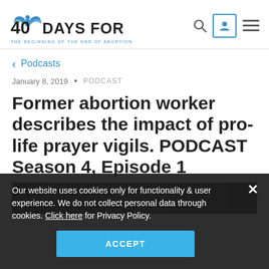[Figure (logo): 40 Days for Life logo with tagline 'THE BEGINNING OF THE END OF ABORTION.']
< Podcasts
January 8, 2019  •  PODCAST
Former abortion worker describes the impact of pro-life prayer vigils. PODCAST Season 4, Episode 1
Our website uses cookies only for functionality & user experience. We do not collect personal data through cookies. Click here for Privacy Policy.
ACCEPT